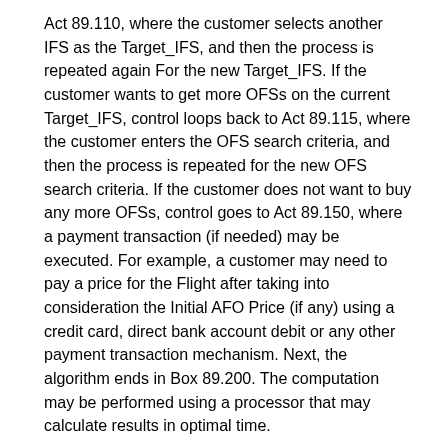Act 89.110, where the customer selects another IFS as the Target_IFS, and then the process is repeated again For the new Target_IFS. If the customer wants to get more OFSs on the current Target_IFS, control loops back to Act 89.115, where the customer enters the OFS search criteria, and then the process is repeated for the new OFS search criteria. If the customer does not want to buy any more OFSs, control goes to Act 89.150, where a payment transaction (if needed) may be executed. For example, a customer may need to pay a price for the Flight after taking into consideration the Initial AFO Price (if any) using a credit card, direct bank account debit or any other payment transaction mechanism. Next, the algorithm ends in Box 89.200. The computation may be performed using a processor that may calculate results in optimal time.
OFS Search
The following algorithm (shown in FIG. 90) determines and validates an OFS for a given set of conditions including, but not limited to, availability, Notify Deadline and AFO price. One of the ways of implementation of the OFS Search has already been discussed above along with